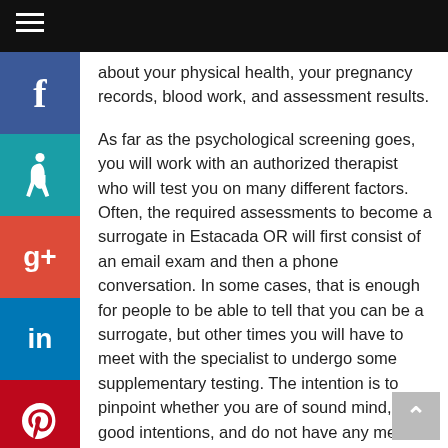about your physical health, your pregnancy records, blood work, and assessment results.
As far as the psychological screening goes, you will work with an authorized therapist who will test you on many different factors. Often, the required assessments to become a surrogate in Estacada OR will first consist of an email exam and then a phone conversation. In some cases, that is enough for people to be able to tell that you can be a surrogate, but other times you will have to meet with the specialist to undergo some supplementary testing. The intention is to pinpoint whether you are of sound mind, have good intentions, and do not have any mental hardship. Once again, the safety of everyone is so important.
It is also vital to note that outstanding people can't be surrogates, it is not something to find shame in or feel bad about...